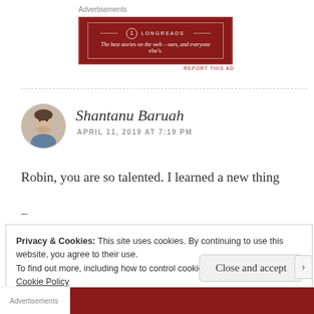[Figure (other): Advertisements label above a Longreads red banner ad reading: The best stories on the web – ours, and everyone else's.]
REPORT THIS AD
[Figure (photo): Circular avatar photo of Shantanu Baruah, a man resting his chin on his hand]
Shantanu Baruah
APRIL 11, 2019 AT 7:19 PM
Robin, you are so talented. I learned a new thing
—
Privacy & Cookies: This site uses cookies. By continuing to use this website, you agree to their use.
To find out more, including how to control cookies, see here:
Cookie Policy
Close and accept
Advertisements